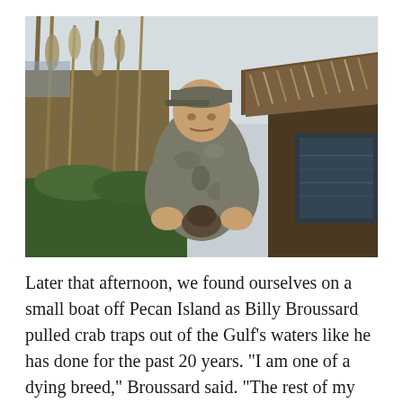[Figure (photo): A man in camouflage jacket and cap standing outdoors among tall reeds and marsh vegetation, holding a bird, near a wooden structure. Overcast sky visible in the background.]
Later that afternoon, we found ourselves on a small boat off Pecan Island as Billy Broussard pulled crab traps out of the Gulf's waters like he has done for the past 20 years. "I am one of a dying breed," Broussard said. "The rest of my family has moved north and gone to the cities." Broussard is also an avid